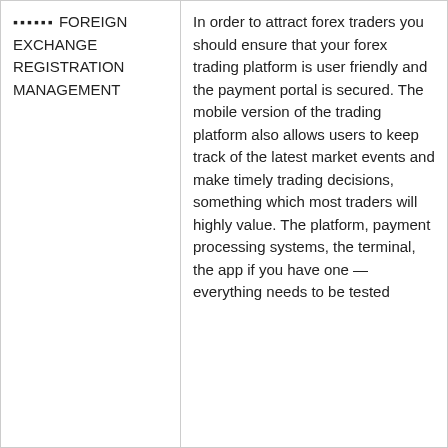| ▪▪▪▪▪▪ FOREIGN EXCHANGE REGISTRATION MANAGEMENT | In order to attract forex traders you should ensure that your forex trading platform is user friendly and the payment portal is secured. The mobile version of the trading platform also allows users to keep track of the latest market events and make timely trading decisions, something which most traders will highly value. The platform, payment processing systems, the terminal, the app if you have one — everything needs to be tested |